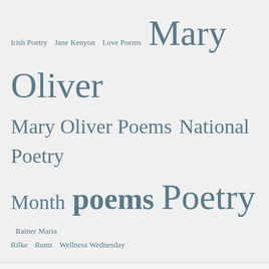Irish Poetry  Jane Kenyon  Love Poems  Mary Oliver  Mary Oliver Poems  National Poetry Month  poems  Poetry  Rainer Maria Rilke  Rumi  Wellness Wednesday
GOODREADS
The Invitation by Oriah Mountain Dreamer
Rework by Jason Fried
Love Money, Money Loves You: A...